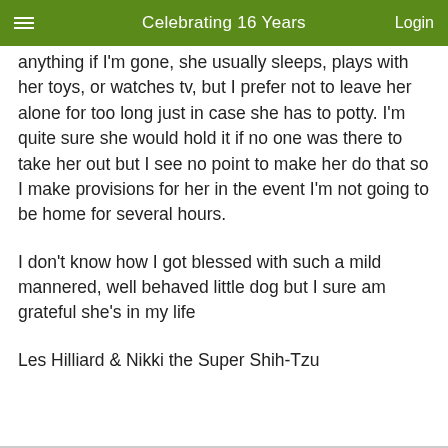Celebrating 16 Years
anything if I'm gone, she usually sleeps, plays with her toys, or watches tv, but I prefer not to leave her alone for too long just in case she has to potty. I'm quite sure she would hold it if no one was there to take her out but I see no point to make her do that so I make provisions for her in the event I'm not going to be home for several hours.
I don't know how I got blessed with such a mild mannered, well behaved little dog but I sure am grateful she's in my life
Les Hilliard & Nikki the Super Shih-Tzu